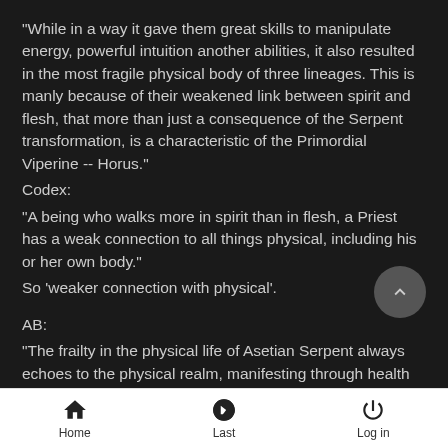"While in a way it gave them great skills to manipulate energy, powerful intuition another abilities, it also resulted in the most fragile physical body of three lineages. This is manly because of their weakened link between spirit and flesh, that more than just a consequence of the Serpent transformation, is a characteristic of the Primordial Viperine -- Horus."
Codex:
"A being who walks more in spirit than in flesh, a Priest has a weak connection to all things physical, including his or her own body."
So 'weaker connection with physical'.

AB:
"The frailty in the physical life of Asetian Serpent always echoes to the physical realm, manifesting through health problems."
Codex:
"When energetically out of balance or unable to obtain the needed energy, a Priest's health will suffer, often in alarming
Home  Last  Log in